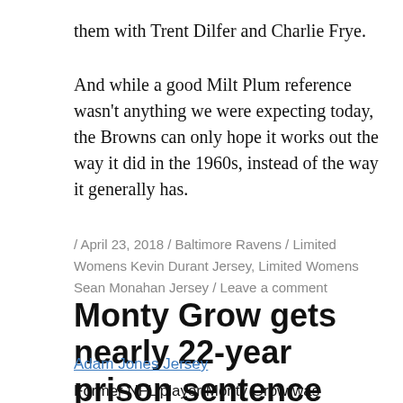them with Trent Dilfer and Charlie Frye.
And while a good Milt Plum reference wasn't anything we were expecting today, the Browns can only hope it works out the way it did in the 1960s, instead of the way it generally has.
/ April 23, 2018 / Baltimore Ravens / Limited Womens Kevin Durant Jersey, Limited Womens Sean Monahan Jersey / Leave a comment
Monty Grow gets nearly 22-year prison sentence
Adam Jones Jersey
Former NFL player Monty Grow was sentenced